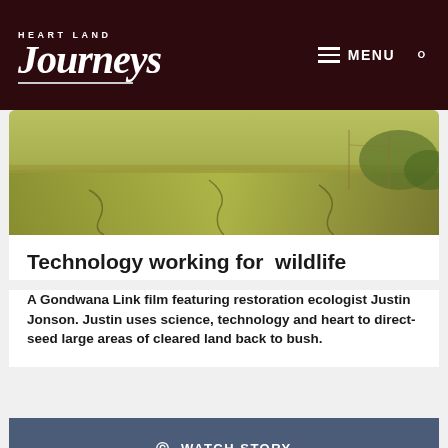Heart Land Journeys — MENU (navigation)
[Figure (photo): Aerial or ground-level landscape photo showing dry grassland/paddock with dried grass, cracks, and scrub vegetation in the background]
Technology working for wildlife
A Gondwana Link film featuring restoration ecologist Justin Jonson. Justin uses science, technology and heart to direct-seed large areas of cleared land back to bush.
© WATCH STORY
[Figure (photo): Landscape photo showing red rocky outcrops with native trees (eucalyptus/mallee) against a blue sky]